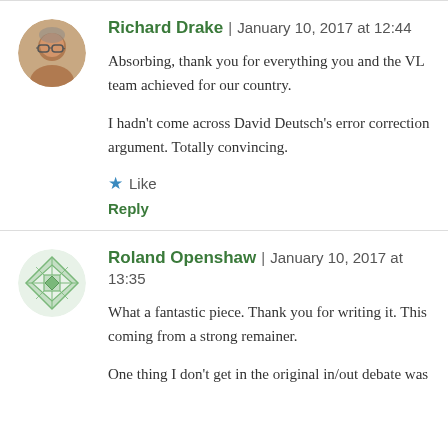Richard Drake | January 10, 2017 at 12:44
Absorbing, thank you for everything you and the VL team achieved for our country.
I hadn't come across David Deutsch's error correction argument. Totally convincing.
★ Like
Reply
Roland Openshaw | January 10, 2017 at 13:35
What a fantastic piece. Thank you for writing it. This coming from a strong remainer.
One thing I don't get in the original in/out debate was